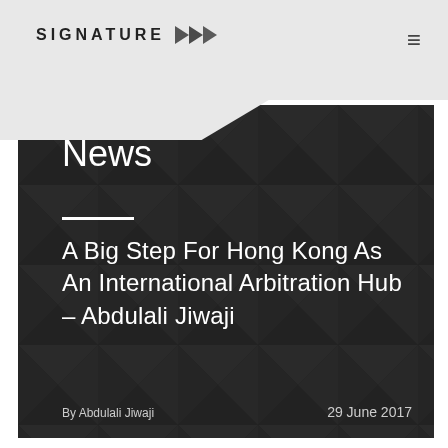SIGNATURE
News
A Big Step For Hong Kong As An International Arbitration Hub – Abdulali Jiwaji
By Abdulali Jiwaji
29 June 2017